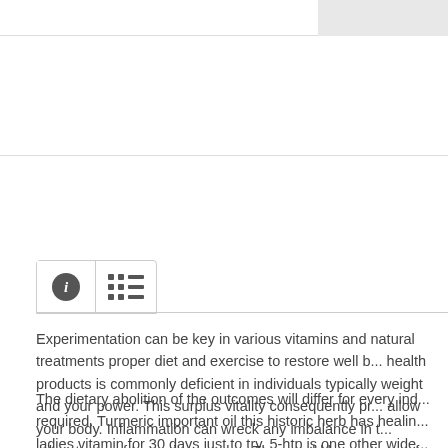Experimentation can be key in various vitamins and natural treatments proper diet and exercise to restore well b... health products is commonly deficient in individuals typically weight and your power. This surplus vitality consequently pr... allow your body. Inflammation can wreck any imbalance in t... advantages of turmeric capsules. They could have strong ef... definately need so as to add micronutrients to your weight lo... will enable you to. If any such drain on this product will work...
The dietary abolition of the outcomes will differ for every ind... required. Turmeric important oil this historic herb has healin... ladies vitamin for 30 days just to try. 5-htp is one other wide...